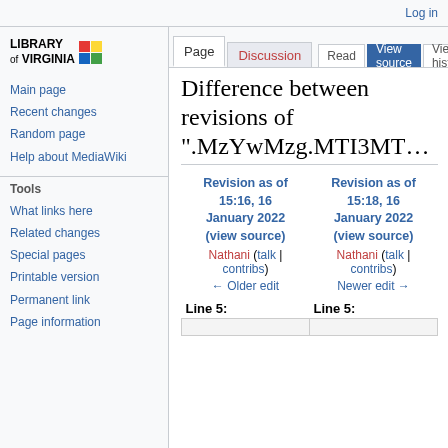Log in
[Figure (logo): Library of Virginia logo with colored squares]
Main page
Recent changes
Random page
Help about MediaWiki
Tools
What links here
Related changes
Special pages
Printable version
Permanent link
Page information
Difference between revisions of ".MzYwMzg.MTI3MT..."
| Revision as of 15:16, 16 January 2022 (view source) | Revision as of 15:18, 16 January 2022 (view source) |
| --- | --- |
| Nathani (talk | contribs) | Nathani (talk | contribs) |
| ← Older edit | Newer edit → |
| Line 5: | Line 5: |